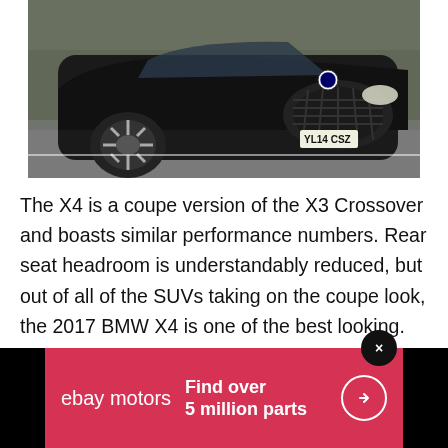[Figure (photo): A dark/black BMW X4 SUV coupe driving on a road, front three-quarter view, with UK license plate YL14 CSZ visible. Trees in background.]
The X4 is a coupe version of the X3 Crossover and boasts similar performance numbers. Rear seat headroom is understandably reduced, but out of all of the SUVs taking on the coupe look, the 2017 BMW X4 is one of the best looking.
[Figure (infographic): eBay Motors advertisement banner with red background. Shows 'ebay motors' logo on left and text 'Find over 5 million parts' with a circular arrow button on the right. Black close (x) button in top right corner.]